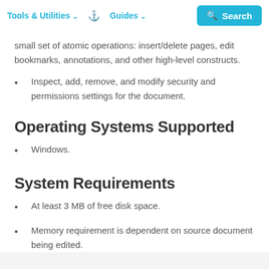Tools & Utilities  Guides  Search
small set of atomic operations: insert/delete pages, edit bookmarks, annotations, and other high-level constructs.
Inspect, add, remove, and modify security and permissions settings for the document.
Operating Systems Supported
Windows.
System Requirements
At least 3 MB of free disk space.
Memory requirement is dependent on source document being edited.